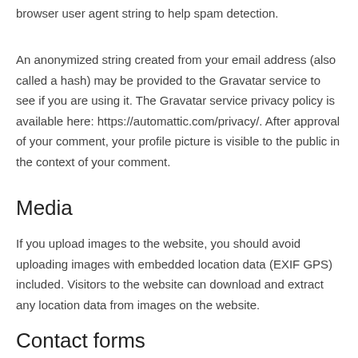browser user agent string to help spam detection.
An anonymized string created from your email address (also called a hash) may be provided to the Gravatar service to see if you are using it. The Gravatar service privacy policy is available here: https://automattic.com/privacy/. After approval of your comment, your profile picture is visible to the public in the context of your comment.
Media
If you upload images to the website, you should avoid uploading images with embedded location data (EXIF GPS) included. Visitors to the website can download and extract any location data from images on the website.
Contact forms